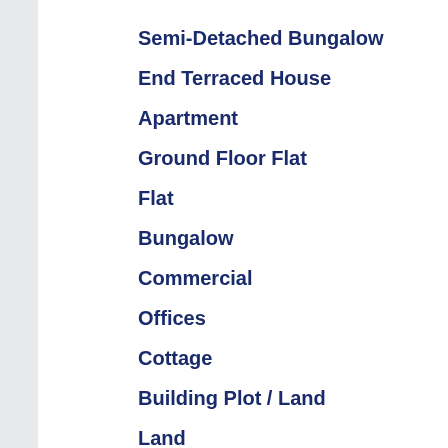Semi-Detached Bungalow
End Terraced House
Apartment
Ground Floor Flat
Flat
Bungalow
Commercial
Offices
Cottage
Building Plot / Land
Land
Terraced
Detached